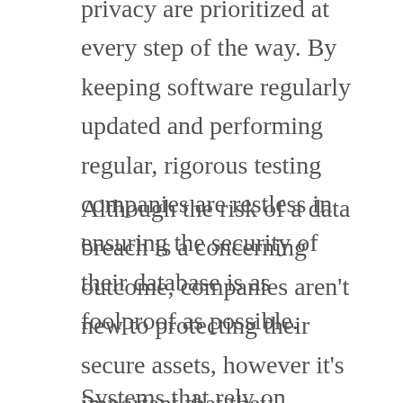privacy are prioritized at every step of the way. By keeping software regularly updated and performing regular, rigorous testing companies are restless in ensuring the security of their database is as foolproof as possible.
Although the risk of a data breach is a concerning outcome, companies aren't new to protecting their secure assets, however it's important that they understand the value of the personal information they are collecting and storing, and take all measures possible to protect that data.
Systems that rely on biometrics as